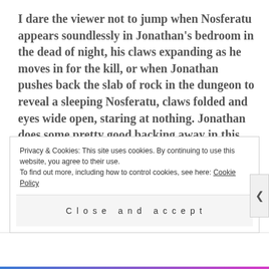I dare the viewer not to jump when Nosferatu appears soundlessly in Jonathan's bedroom in the dead of night, his claws expanding as he moves in for the kill, or when Jonathan pushes back the slab of rock in the dungeon to reveal a sleeping Nosferatu, claws folded and eyes wide open, staring at nothing. Jonathan does some pretty good backing away in this situation, check it out.
The latter half of the film sees Nosferatu
Privacy & Cookies: This site uses cookies. By continuing to use this website, you agree to their use.
To find out more, including how to control cookies, see here: Cookie Policy
Close and accept